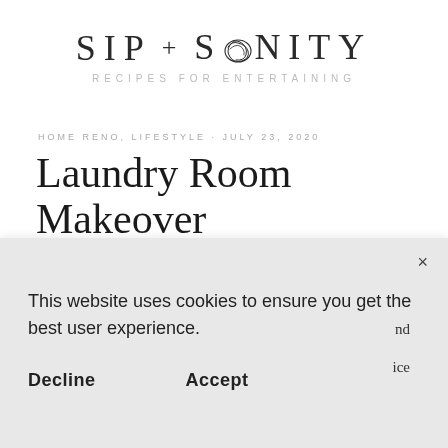SIP + SANITY
RECIPES FOR ENTERTAINING
HOME RENO, LIFESTYLE · JULY 23, 2020
Laundry Room Makeover
This website uses cookies to ensure you get the best user experience.
Decline
Accept